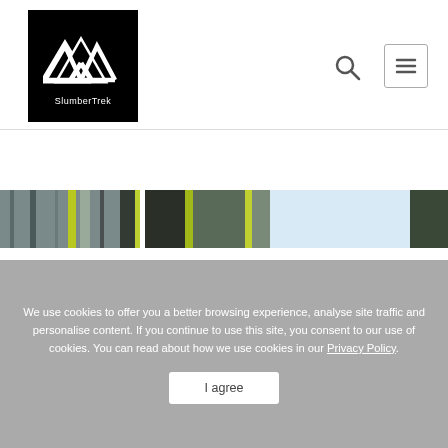[Figure (logo): SlumberTrek logo: black square with white mountain/tent graphic and 'SlumberTrek' text]
[Figure (illustration): Search icon (magnifying glass) in header navigation]
[Figure (illustration): Hamburger menu button (three horizontal lines) with border in header navigation]
[Figure (photo): Horizontal strip photo showing tents/camping gear, mixed dark and light blue tones]
We use cookies to offer you a better browsing experience, analyse site traffic and personalise content. If you continue to use this site, you consent to our use of cookies. You can read about how we use cookies in our Privacy Policy.
I agree